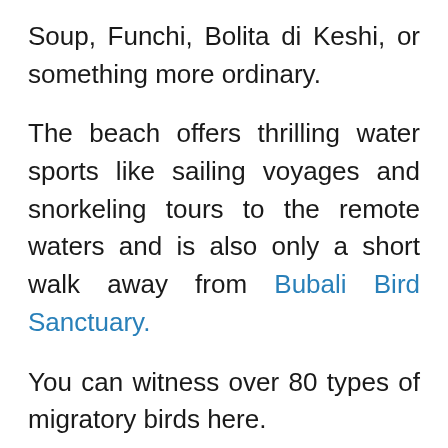Soup, Funchi, Bolita di Keshi, or something more ordinary.
The beach offers thrilling water sports like sailing voyages and snorkeling tours to the remote waters and is also only a short walk away from Bubali Bird Sanctuary.
You can witness over 80 types of migratory birds here.
The beach is around 7 km from Aruba Cruise Terminal. Visitors will discover many things to do when they desire a break from the sun and sand.